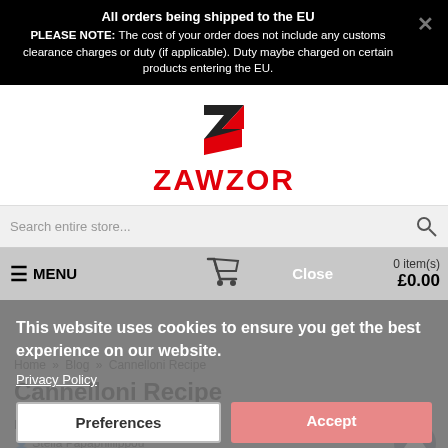All orders being shipped to the EU
PLEASE NOTE: The cost of your order does not include any customs clearance charges or duty (if applicable). Duty maybe charged on certain products entering the EU.
[Figure (logo): Zawzor logo: black and red stylized Z-arrow shape above red ZAWZOR text]
Search entire store...
≡ MENU   Close   0 item(s) £0.00
This website uses cookies to ensure you get the best experience on our website.
Privacy Policy
Home » Blog » Cannelloni Recipe
Cannelloni Recipe
Preferences
Accept
Posted by
Stella Papaphillippou
31/03/2020